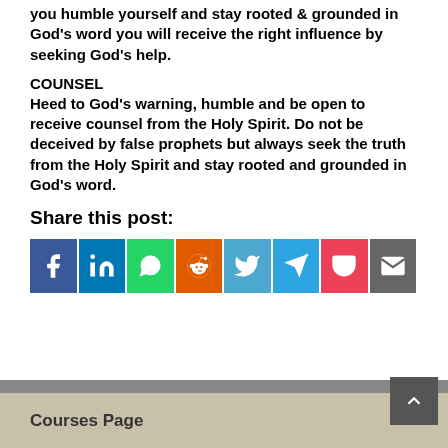you humble yourself and stay rooted & grounded in God's word you will receive the right influence by seeking God's help.
COUNSEL
Heed to God's warning, humble and be open to receive counsel from the Holy Spirit. Do not be deceived by false prophets but always seek the truth from the Holy Spirit and stay rooted and grounded in God's word.
Share this post:
[Figure (infographic): Row of 8 social share buttons: Facebook (blue), LinkedIn (blue), WhatsApp (green), Reddit (orange), Twitter (light blue), Telegram (blue), Pocket (pink/red), Email (gray)]
Courses Page